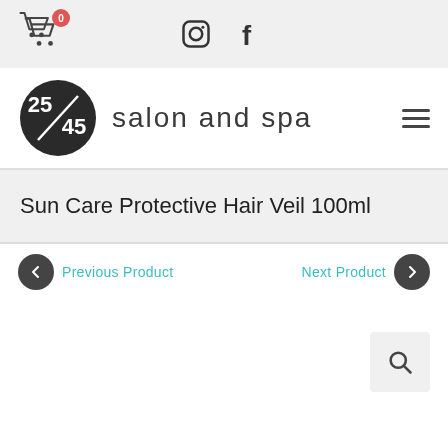Shopping cart (0) — social icons: Instagram, Facebook
[Figure (logo): 25/45 salon and spa logo with circular emblem and hamburger menu icon]
Sun Care Protective Hair Veil 100ml
Previous Product | Next Product
[Figure (other): Search icon button]